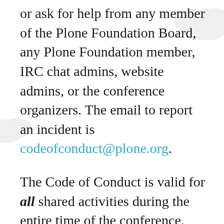or ask for help from any member of the Plone Foundation Board, any Plone Foundation member, IRC chat admins, website admins, or the conference organizers. The email to report an incident is codeofconduct@plone.org.
The Code of Conduct is valid for all shared activities during the entire time of the conference. That includes the conference itself, training classes, the party, and also shared outings and dinners with fellow participants. We want everyone to have an excellent time, and that includes everyone feeling safe and supported while interacting with other participants both off